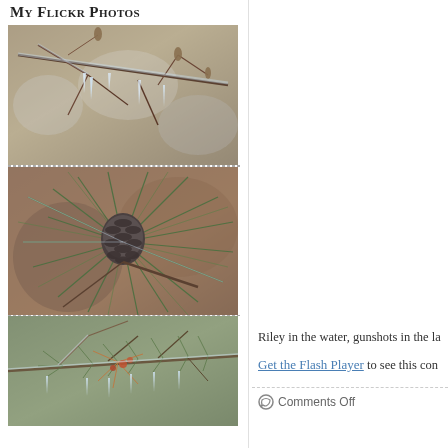My Flickr Photos
[Figure (photo): Close-up of icy tree branches with icicles hanging from twigs and buds, brown and gray tones]
[Figure (photo): Close-up of a pine cone on a branch with green pine needles coated in ice]
[Figure (photo): Close-up of icy pine/spruce branches with orange-brown needles and small red buds covered in ice]
Riley in the water, gunshots in the la
Get the Flash Player to see this con
Comments Off